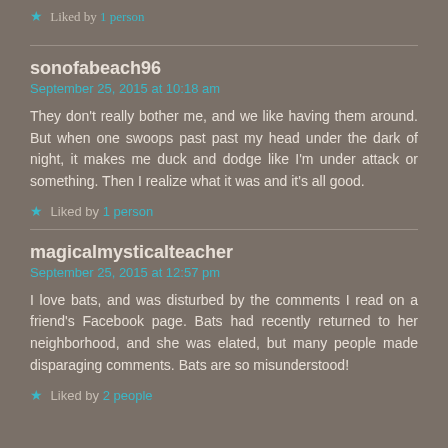★ Liked by 1 person
sonofabeach96
September 25, 2015 at 10:18 am
They don't really bother me, and we like having them around. But when one swoops past past my head under the dark of night, it makes me duck and dodge like I'm under attack or something. Then I realize what it was and it's all good.
★ Liked by 1 person
magicalmysticalteacher
September 25, 2015 at 12:57 pm
I love bats, and was disturbed by the comments I read on a friend's Facebook page. Bats had recently returned to her neighborhood, and she was elated, but many people made disparaging comments. Bats are so misunderstood!
★ Liked by 2 people